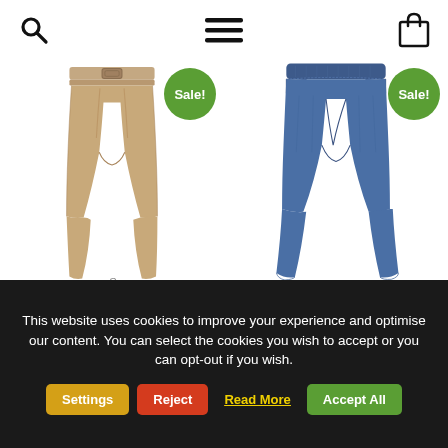[Figure (screenshot): E-commerce website header navigation bar with search icon, hamburger menu icon, and shopping bag icon]
[Figure (photo): Beige high-waisted belted trousers with 'Sale!' green badge in top right corner]
[Figure (photo): Blue denim flared jeans with 'Sale!' green badge in top right corner]
This website uses cookies to improve your experience and optimise our content. You can select the cookies you wish to accept or you can opt-out if you wish.
Settings | Reject | Read More | Accept All